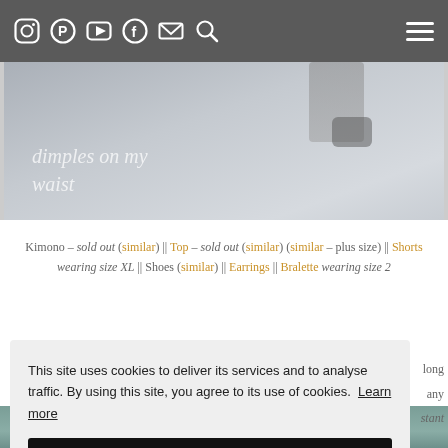Navigation bar with social icons: Instagram, Pinterest, YouTube, Facebook, Email, Search, and hamburger menu
[Figure (photo): Blog header image showing legs/shoes with script text 'dimples on my waist' overlaid]
Kimono – sold out (similar) || Top – sold out (similar) (similar – plus size) || Shorts wearing size XL || Shoes (similar) || Earrings || Bralette wearing size 2
This site uses cookies to deliver its services and to analyse traffic. By using this site, you agree to its use of cookies. Learn more
OK
[Figure (photo): Bottom partial image strip, green/teal toned]